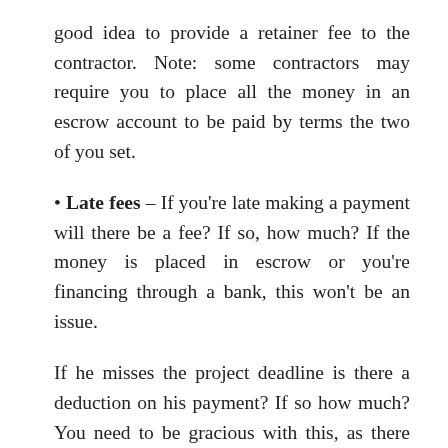good idea to provide a retainer fee to the contractor. Note: some contractors may require you to place all the money in an escrow account to be paid by terms the two of you set.
Late fees – If you're late making a payment will there be a fee? If so, how much? If the money is placed in escrow or you're financing through a bank, this won't be an issue.
If he misses the project deadline is there a deduction on his payment? If so how much? You need to be gracious with this, as there are a lot of things out of the contractor's control: weather, worker shortage, supply issues, etc. So if there is a late fee, I would extend a grace